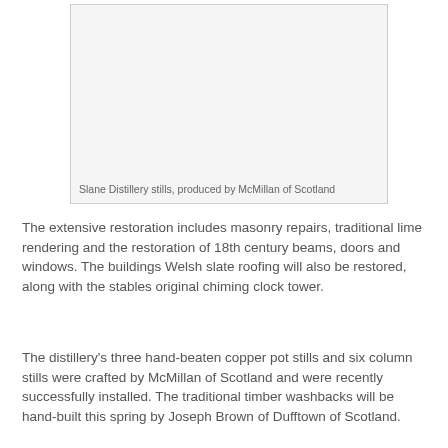[Figure (photo): Slane Distillery stills, produced by McMillan of Scotland — a blank/light grey image placeholder with a caption at the bottom.]
Slane Distillery stills, produced by McMillan of Scotland
The extensive restoration includes masonry repairs, traditional lime rendering and the restoration of 18th century beams, doors and windows. The buildings Welsh slate roofing will also be restored, along with the stables original chiming clock tower.
The distillery's three hand-beaten copper pot stills and six column stills were crafted by McMillan of Scotland and were recently successfully installed. The traditional timber washbacks will be hand-built this spring by Joseph Brown of Dufftown of Scotland.